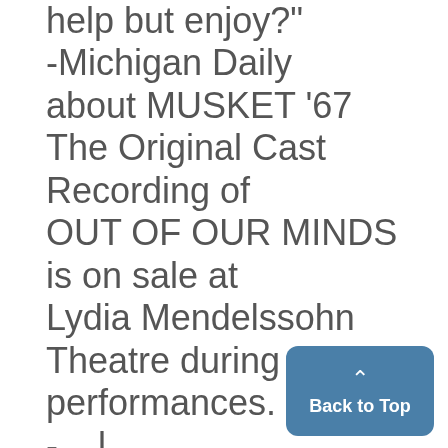help but enjoy?"
-Michigan Daily about MUSKET '67
The Original Cast Recording of OUT OF OUR MINDS is on sale at Lydia Mendelssohn Theatre during all performances.
- . .l

THE BEATLES
in